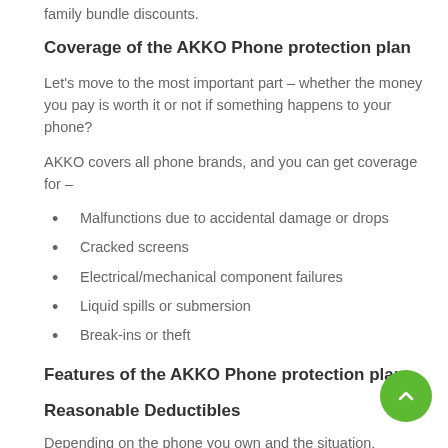family bundle discounts.
Coverage of the AKKO Phone protection plan
Let's move to the most important part – whether the money you pay is worth it or not if something happens to your phone?
AKKO covers all phone brands, and you can get coverage for –
Malfunctions due to accidental damage or drops
Cracked screens
Electrical/mechanical component failures
Liquid spills or submersion
Break-ins or theft
Features of the AKKO Phone protection plan
Reasonable Deductibles
Depending on the phone you own and the situation,